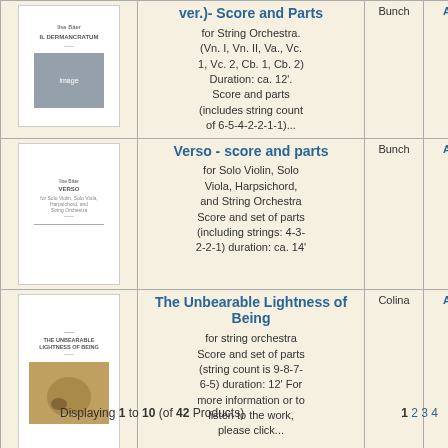| Cover | Title / Description | Vendor | Action |
| --- | --- | --- | --- |
| [cover image] | (ver.)- Score and Parts
for String Orchestra. (Vn. I, Vn. II, Va., Vc. 1, Vc. 2, Cb. 1, Cb. 2) Duration: ca. 12'. Score and parts (includes string count of 6-5-4-2-2-1-1)... | Bunch | Ad |
| [cover image] | Verso - score and parts
for Solo Violin, Solo Viola, Harpsichord, and String Orchestra Score and set of parts (including strings: 4-3-2-2-1) duration: ca. 14' | Bunch | Ad |
| [cover image] | The Unbearable Lightness of Being
for string orchestra Score and set of parts (string count is 9-8-7-6-5) duration: 12' For more information or to listen to the work, please click... | Colina | Ad |
Displaying 1 to 10 (of 42 Products)
1 2 3 4